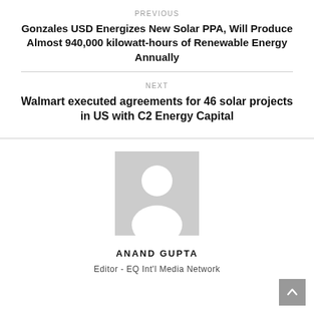PREVIOUS
Gonzales USD Energizes New Solar PPA, Will Produce Almost 940,000 kilowatt-hours of Renewable Energy Annually
NEXT
Walmart executed agreements for 46 solar projects in US with C2 Energy Capital
[Figure (photo): Generic author avatar placeholder — grey square with white silhouette of a person]
ANAND GUPTA
Editor - EQ Int'l Media Network